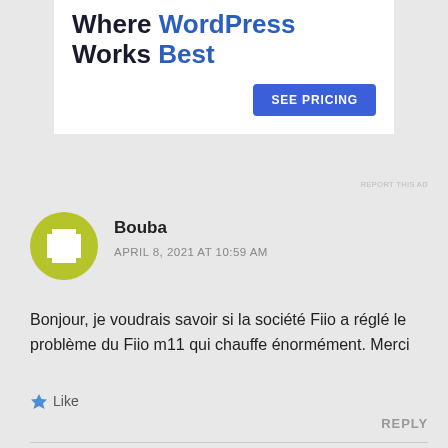[Figure (screenshot): Advertisement banner for WordPress hosting with 'Works Best' tagline and blue 'SEE PRICING' button on white background]
REPORT THIS AD
Bouba
APRIL 8, 2021 AT 10:59 AM
Bonjour, je voudrais savoir si la société Fiio a réglé le problème du Fiio m11 qui chauffe énormément. Merci
Like
REPLY